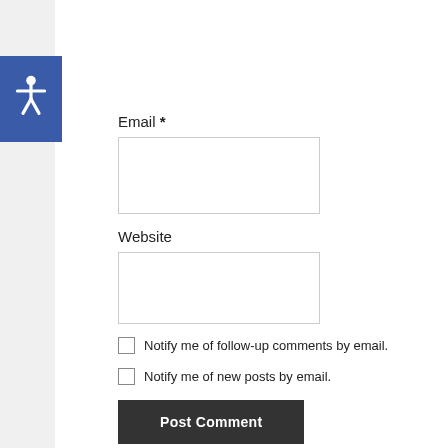[Figure (other): Blue accessibility icon button with wheelchair symbol in top-left area]
Email *
Website
Notify me of follow-up comments by email.
Notify me of new posts by email.
Post Comment